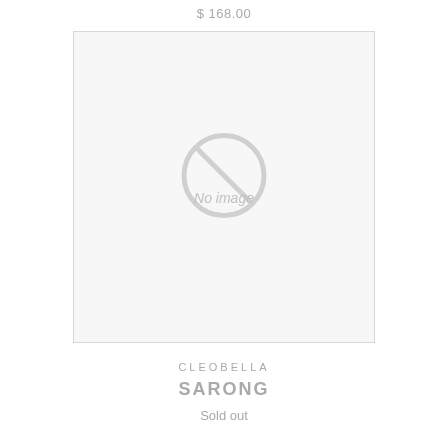$ 168.00
[Figure (other): No image placeholder with a circle-slash icon and 'No image' text inside a light gray bordered box]
CLEOBELLA
SARONG
Sold out